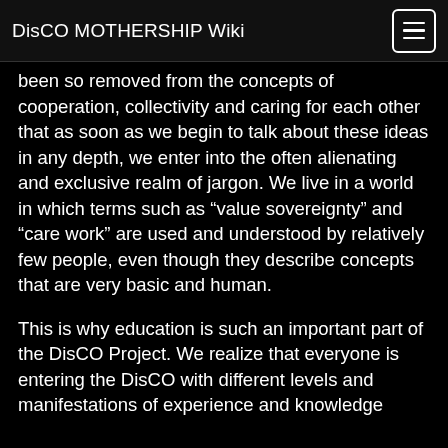DisCO MOTHERSHIP Wiki
been so removed from the concepts of cooperation, collectivity and caring for each other that as soon as we begin to talk about these ideas in any depth, we enter into the often alienating and exclusive realm of jargon. We live in a world in which terms such as “value sovereignty” and “care work” are used and understood by relatively few people, even though they describe concepts that are very basic and human.
This is why education is such an important part of the DisCO Project. We realize that everyone is entering the DisCO with different levels and manifestations of experience and knowledge